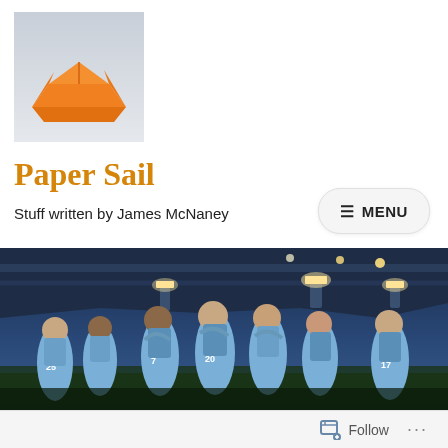[Figure (photo): Orange origami paper boat/ship on a light grey/white background]
Paper Sail
Stuff written by James McNaney
[Figure (other): Menu button with hamburger icon and text MENU, rounded rectangle style]
[Figure (photo): Football/soccer players in light blue Manchester City jerseys celebrating on a stadium pitch at night, jersey numbers visible: 25, 7, 20, 17]
Follow  ...